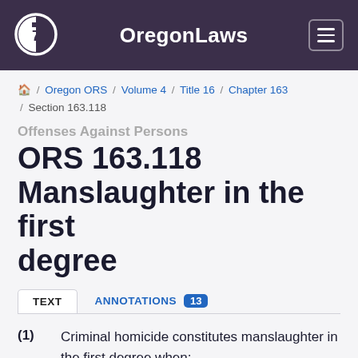OregonLaws
/ Oregon ORS / Volume 4 / Title 16 / Chapter 163 / Section 163.118
Offenses Against Persons
ORS 163.118 Manslaughter in the first degree
TEXT   ANNOTATIONS 13
(1)   Criminal homicide constitutes manslaughter in the first degree when: